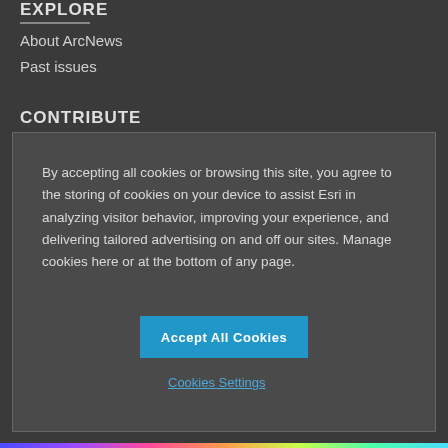EXPLORE
About ArcNews
Past issues
CONTRIBUTE
By accepting all cookies or browsing this site, you agree to the storing of cookies on your device to assist Esri in analyzing visitor behavior, improving your experience, and delivering tailored advertising on and off our sites. Manage cookies here or at the bottom of any page.
Accept All Cookies
Cookies Settings